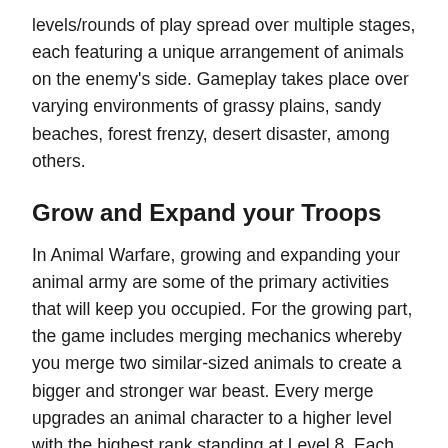levels/rounds of play spread over multiple stages, each featuring a unique arrangement of animals on the enemy's side. Gameplay takes place over varying environments of grassy plains, sandy beaches, forest frenzy, desert disaster, among others.
Grow and Expand your Troops
In Animal Warfare, growing and expanding your animal army are some of the primary activities that will keep you occupied. For the growing part, the game includes merging mechanics whereby you merge two similar-sized animals to create a bigger and stronger war beast. Every merge upgrades an animal character to a higher level with the highest rank standing at Level 8. Each merge also unlocks perks, which eventually leads to a nice bonus of coins and gems when you hit the day's targeted number of perks.
Expanding your troops will not be hard since this game has a vast array of animal characters to collect with deer, bear,